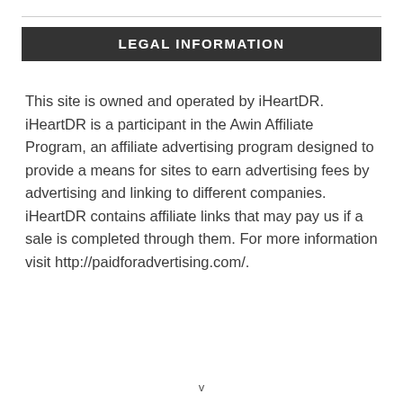LEGAL INFORMATION
This site is owned and operated by iHeartDR. iHeartDR is a participant in the Awin Affiliate Program, an affiliate advertising program designed to provide a means for sites to earn advertising fees by advertising and linking to different companies. iHeartDR contains affiliate links that may pay us if a sale is completed through them. For more information visit http://paidforadvertising.com/.
v